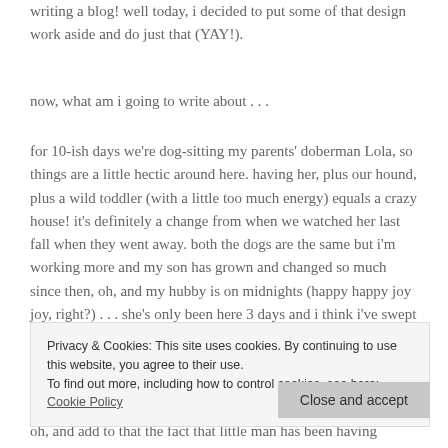writing a blog! well today, i decided to put some of that design work aside and do just that (YAY!).
now, what am i going to write about . . .
for 10-ish days we're dog-sitting my parents' doberman Lola, so things are a little hectic around here. having her, plus our hound, plus a wild toddler (with a little too much energy) equals a crazy house! it's definitely a change from when we watched her last fall when they went away. both the dogs are the same but i'm working more and my son has grown and changed so much since then, oh, and my hubby is on midnights (happy happy joy joy, right?) . . . she's only been here 3 days and i think i've swept 10 times (not
Privacy & Cookies: This site uses cookies. By continuing to use this website, you agree to their use.
To find out more, including how to control cookies, see here: Cookie Policy
Close and accept
oh, and add to that the fact that little man has been having